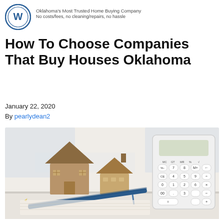[Figure (logo): Circular logo with W initial, representing Oklahoma home buying company]
Oklahoma's Most Trusted Home Buying Company
No costs/fees, no cleaning/repairs, no hassle
How To Choose Companies That Buy Houses Oklahoma
January 22, 2020
By pearlydean2
[Figure (photo): Photo of two wooden toy houses next to a white calculator and a blue pen on a white surface, with a light blue watermark in the background]